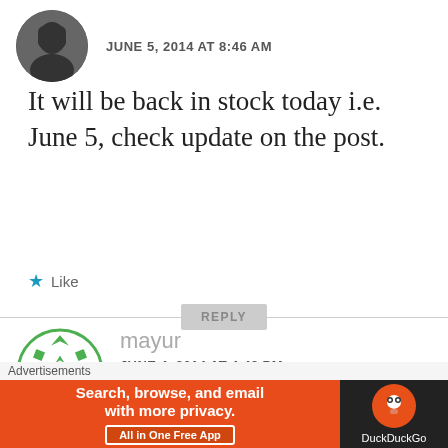JUNE 5, 2014 AT 8:46 AM
It will be back in stock today i.e. June 5, check update on the post.
Like
REPLY
mayur
JUNE 4, 2014 AT 4:49 PM
Advertisements
Search, browse, and email with more privacy. All in One Free App
DuckDuckGo